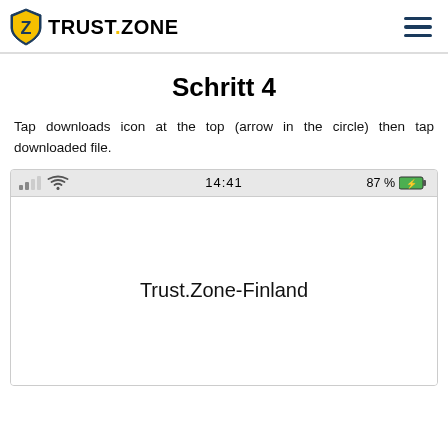TRUST.ZONE
Schritt 4
Tap downloads icon at the top (arrow in the circle) then tap downloaded file.
[Figure (screenshot): Mobile browser screenshot showing status bar with signal bars, WiFi icon, time 14:41, battery 87%, and a download file named Trust.Zone-Finland]